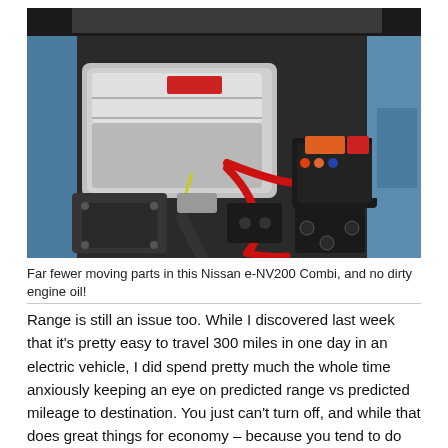[Figure (photo): Close-up photograph of an electric vehicle engine bay, showing the Nissan e-NV200 Combi's electric motor (silver casing), red high-voltage cables, battery components, black electronics modules, and blue bodywork in the background.]
Far fewer moving parts in this Nissan e-NV200 Combi, and no dirty engine oil!
Range is still an issue too. While I discovered last week that it's pretty easy to travel 300 miles in one day in an electric vehicle, I did spend pretty much the whole time anxiously keeping an eye on predicted range vs predicted mileage to destination. You just can't turn off, and while that does great things for economy – because you tend to do your utmost to